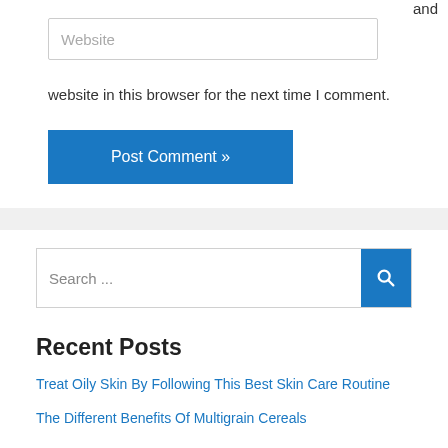and
[Figure (screenshot): Website input text field with placeholder text 'Website']
website in this browser for the next time I comment.
[Figure (screenshot): Blue 'Post Comment »' button]
[Figure (screenshot): Search input box with 'Search ...' placeholder and blue search button with magnifying glass icon]
Recent Posts
Treat Oily Skin By Following This Best Skin Care Routine
The Different Benefits Of Multigrain Cereals